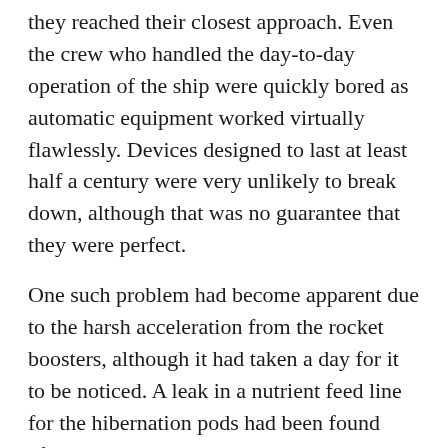they reached their closest approach. Even the crew who handled the day-to-day operation of the ship were quickly bored as automatic equipment worked virtually flawlessly. Devices designed to last at least half a century were very unlikely to break down, although that was no guarantee that they were perfect.
One such problem had become apparent due to the harsh acceleration from the rocket boosters, although it had taken a day for it to be noticed. A leak in a nutrient feed line for the hibernation pods had been found after testing had revealed a systems loss. This was reported to Wandering along with the notification that repairs were already under way. With nothing important to do, he decided to check it out to see for himself if it was as minor as he had been advised. He